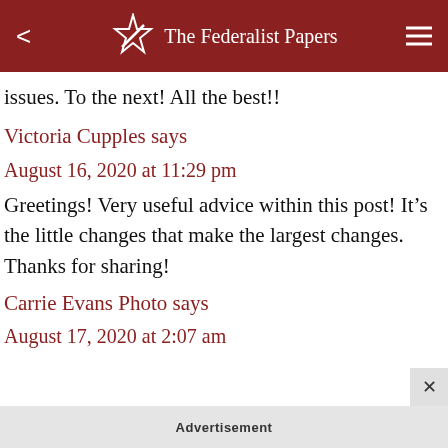The Federalist Papers
issues. To the next! All the best!!
Victoria Cupples says
August 16, 2020 at 11:29 pm
Greetings! Very useful advice within this post! It’s the little changes that make the largest changes. Thanks for sharing!
Carrie Evans Photo says
August 17, 2020 at 2:07 am
Advertisement